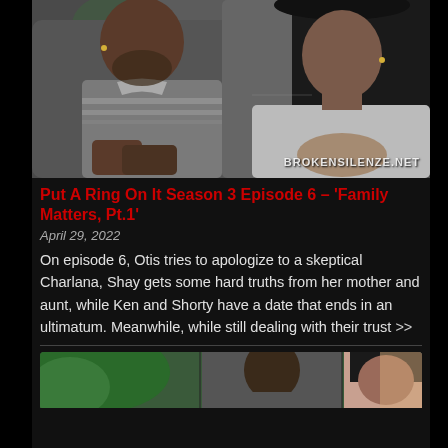[Figure (photo): Two people sitting and talking — a man in a grey striped polo shirt on the left, and a woman in a grey sweater on the right, with a plant in the background. Watermark reads BROKENSILENZE.NET]
Put A Ring On It Season 3 Episode 6 – 'Family Matters, Pt.1'
April 29, 2022
On episode 6, Otis tries to apologize to a skeptical Charlana, Shay gets some hard truths from her mother and aunt, while Ken and Shorty have a date that ends in an ultimatum. Meanwhile, while still dealing with their trust >>
[Figure (photo): Bottom of page showing partial image of two or three people, partially cropped]